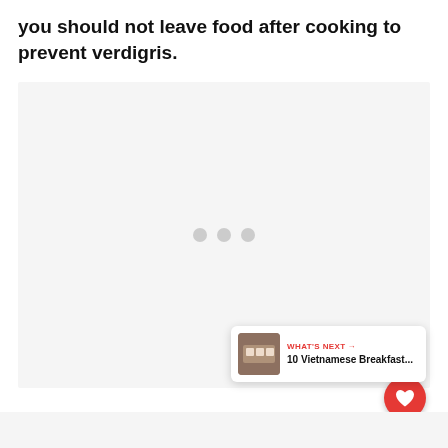you should not leave food after cooking to prevent verdigris.
[Figure (other): Large light grey placeholder image area with three grey dots centered, indicating loading or missing content. A red circular heart/favorite button and a white circular share button are overlaid on the right side. A 'What's Next' card in the bottom-right corner shows a thumbnail image with text '10 Vietnamese Breakfast...'.]